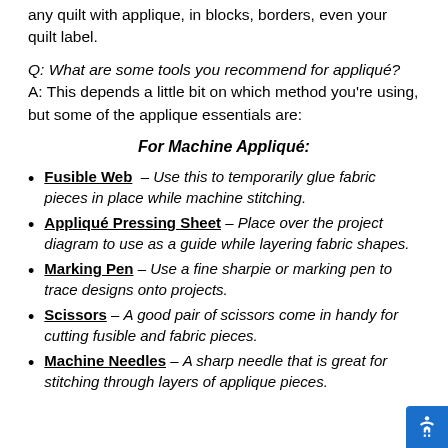any quilt with applique, in blocks, borders, even your quilt label.
Q: What are some tools you recommend for appliqué? A: This depends a little bit on which method you're using, but some of the applique essentials are:
For Machine Appliqué:
Fusible Web – Use this to temporarily glue fabric pieces in place while machine stitching.
Appliqué Pressing Sheet – Place over the project diagram to use as a guide while layering fabric shapes.
Marking Pen – Use a fine sharpie or marking pen to trace designs onto projects.
Scissors – A good pair of scissors come in handy for cutting fusible and fabric pieces.
Machine Needles – A sharp needle that is great for stitching through layers of applique pieces.